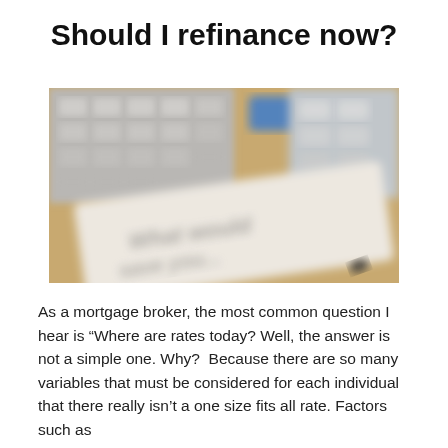Should I refinance now?
[Figure (photo): Blurred close-up photo of a calculator and a document with handwritten text, suggesting financial calculation or mortgage paperwork.]
As a mortgage broker, the most common question I hear is “Where are rates today? Well, the answer is not a simple one. Why?  Because there are so many variables that must be considered for each individual that there really isn’t a one size fits all rate. Factors such as